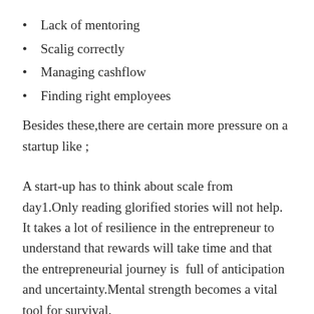Lack of mentoring
Scalig correctly
Managing cashflow
Finding right employees
Besides these,there are certain more pressure on a startup like ;
A start-up has to think about scale from day1.Only reading glorified stories will not help. It takes a lot of resilience in the entrepreneur to understand that rewards will take time and that the entrepreneurial journey is  full of anticipation and uncertainty.Mental strength becomes a vital tool for survival.
India ranks (instagram)#1 among all Asian countries